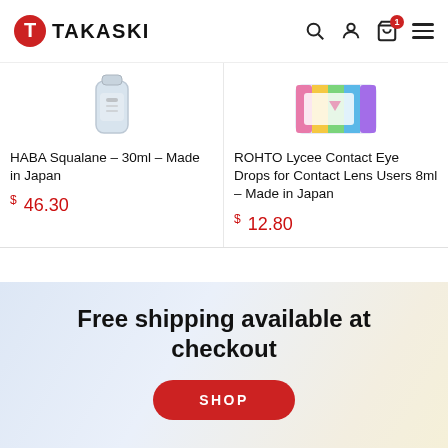TAKASKI
[Figure (photo): HABA Squalane product bottle, silver/clear packaging]
HABA Squalane – 30ml – Made in Japan
$ 46.30
[Figure (photo): ROHTO Lycee Contact Eye Drops colorful packaging with pink and rainbow design]
ROHTO Lycee Contact Eye Drops for Contact Lens Users 8ml – Made in Japan
$ 12.80
Free shipping available at checkout
SHOP